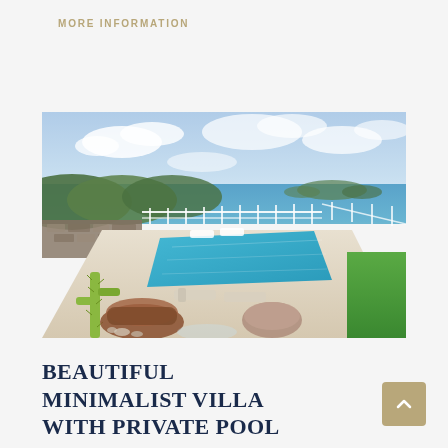MORE INFORMATION
[Figure (photo): Outdoor photo of a minimalist villa with a large rectangular private swimming pool surrounded by white stone decking. Sun loungers are visible beside the pool. A cactus and wicker seating are in the foreground. A stone wall and white iron fence border the property. Beyond the fence, green hillside vegetation leads to a panoramic sea view with islands visible in the distance under a partly cloudy sky. A green lawn area is on the right side.]
BEAUTIFUL MINIMALIST VILLA WITH PRIVATE POOL